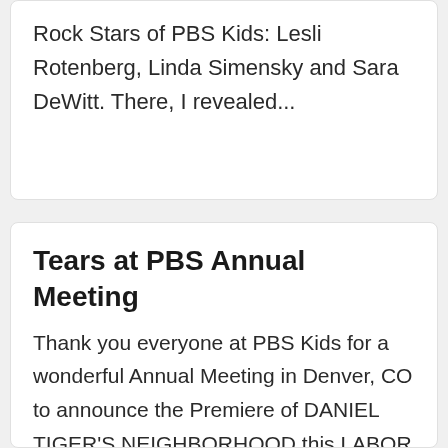Rock Stars of PBS Kids: Lesli Rotenberg, Linda Simensky and Sara DeWitt. There, I revealed...
Tears at PBS Annual Meeting
Thank you everyone at PBS Kids for a wonderful Annual Meeting in Denver, CO to announce the Premiere of DANIEL TIGER'S NEIGHBORHOOD this LABOR